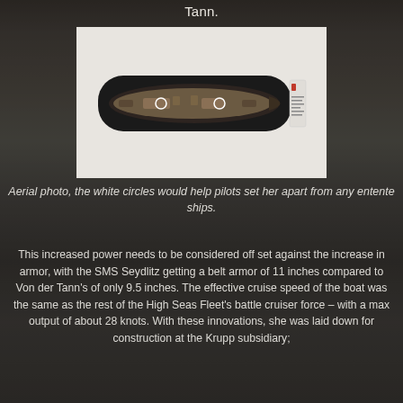Tann.
[Figure (photo): Aerial photograph of the SMS Von der Tann battlecruiser, viewed from above, showing white circles on the deck used to help pilots identify the ship. The ship model/photo is displayed on a white card/background.]
Aerial photo, the white circles would help pilots set her apart from any entente ships.
This increased power needs to be considered off set against the increase in armor, with the SMS Seydlitz getting a belt armor of 11 inches compared to Von der Tann's of only 9.5 inches. The effective cruise speed of the boat was the same as the rest of the High Seas Fleet's battle cruiser force – with a max output of about 28 knots. With these innovations, she was laid down for construction at the Krupp subsidiary;